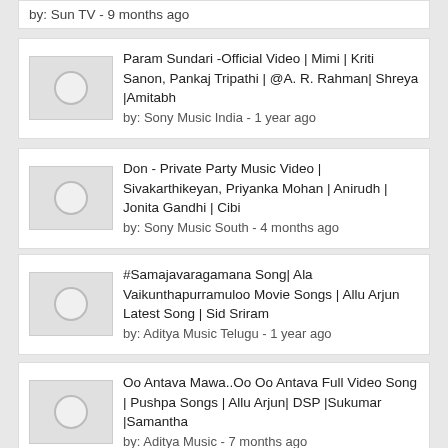by: Sun TV - 9 months ago
Param Sundari -Official Video | Mimi | Kriti Sanon, Pankaj Tripathi | @A. R. Rahman| Shreya |Amitabh
by: Sony Music India - 1 year ago
Don - Private Party Music Video | Sivakarthikeyan, Priyanka Mohan | Anirudh | Jonita Gandhi | Cibi
by: Sony Music South - 4 months ago
#Samajavaragamana Song| Ala Vaikunthapurramuloo Movie Songs | Allu Arjun Latest Song | Sid Sriram
by: Aditya Music Telugu - 1 year ago
Oo Antava Mawa..Oo Oo Antava Full Video Song | Pushpa Songs | Allu Arjun| DSP |Sukumar |Samantha
by: Aditya Music - 7 months ago
Aakaasam Nee Haddhu Ra - Kaatuka Kanule Video | Suriya, Aparna | G.V. Prakash | Sudha Kongara
by: Sony Music South - 1 year ago